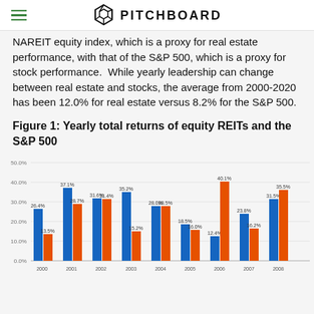PITCHBOARD
NAREIT equity index, which is a proxy for real estate performance, with that of the S&P 500, which is a proxy for stock performance. While yearly leadership can change between real estate and stocks, the average from 2000-2020 has been 12.0% for real estate versus 8.2% for the S&P 500.
Figure 1: Yearly total returns of equity REITs and the S&P 500
[Figure (grouped-bar-chart): Yearly total returns of equity REITs and the S&P 500]